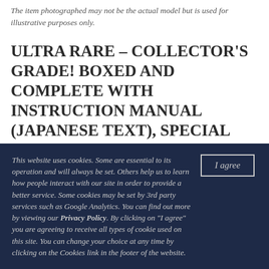The item photographed may not be the actual model but is used for illustrative purposes only.
ULTRA RARE – COLLECTOR'S GRADE! BOXED AND COMPLETE WITH INSTRUCTION MANUAL (JAPANESE TEXT), SPECIAL EDITION LAPITA STRAP, NIKON WORLDWIDE SERVICE WARRANTY CARD AND A CERTIFICATION PAPER OF AUTHENTICTY ALONG WITH OTHER
This website uses cookies. Some are essential to its operation and will always be set. Others help us to learn how people interact with our site in order to provide a better service. Some cookies may be set by 3rd party services such as Google Analytics. You can find out more by viewing our Privacy Policy. By clicking on "I agree" you are agreeing to receive all types of cookie used on this site. You can change your choice at any time by clicking on the Cookies link in the footer of the website.